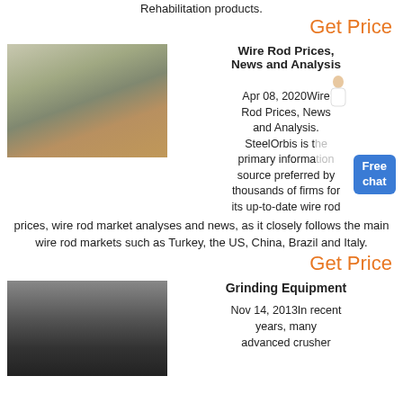Rehabilitation products.
Get Price
[Figure (photo): Industrial grinding/milling equipment in a factory setting with white machinery, pipes, and silos]
Wire Rod Prices, News and Analysis
Apr 08, 2020Wire Rod Prices, News and Analysis. SteelOrbis is the primary information source preferred by thousands of firms for its up-to-date wire rod prices, wire rod market analyses and news, as it closely follows the main wire rod markets such as Turkey, the US, China, Brazil and Italy.
Get Price
[Figure (photo): Large industrial grinding equipment with a dark roller/cylinder in a factory/warehouse]
Grinding Equipment
Nov 14, 2013In recent years, many advanced crusher